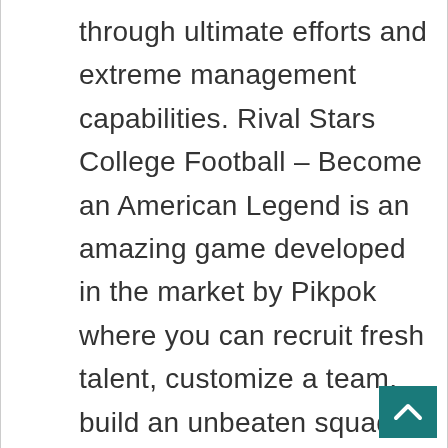through ultimate efforts and extreme management capabilities. Rival Stars College Football – Become an American Legend is an amazing game developed in the market by Pikpok where you can recruit fresh talent, customize a team, build an unbeaten squad, make risky plays for the big payoffs, and do much else. It lets you have the honor of becoming the head coach of a college football program and manage your team to make it unbelievable. It lets you win big dreams and even bigger challenges, while the team will re...